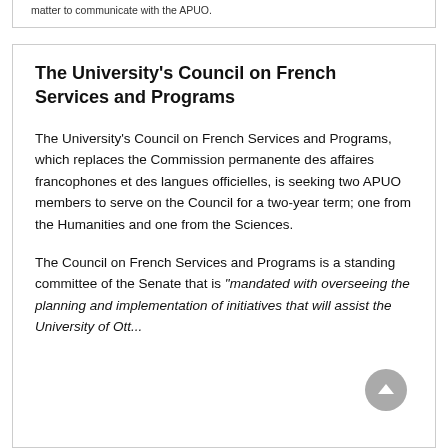matter to communicate with the APUO.
The University's Council on French Services and Programs
The University's Council on French Services and Programs, which replaces the Commission permanente des affaires francophones et des langues officielles, is seeking two APUO members to serve on the Council for a two-year term; one from the Humanities and one from the Sciences.
The Council on French Services and Programs is a standing committee of the Senate that is “mandated with overseeing the planning and implementation of initiatives that will assist the University of Ot...